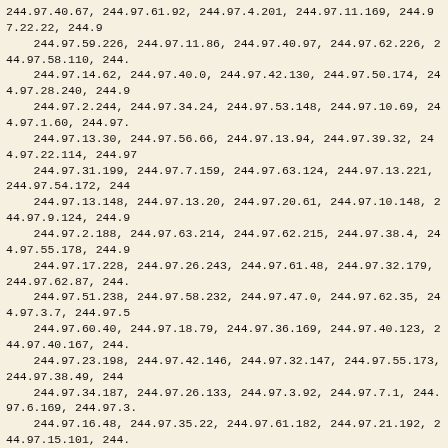244.97.40.67, 244.97.61.92, 244.97.4.201, 244.97.11.169, 244.97.22.22, 244.97.59.226, 244.97.11.86, 244.97.40.97, 244.97.62.226, 244.97.58.110, 244.97.14.62, 244.97.40.0, 244.97.42.130, 244.97.50.174, 244.97.28.240, 244.97.2.244, 244.97.34.24, 244.97.53.148, 244.97.10.69, 244.97.1.60, 244.97.13.30, 244.97.56.66, 244.97.13.94, 244.97.39.32, 244.97.22.114, 244.97.31.199, 244.97.7.159, 244.97.63.124, 244.97.13.221, 244.97.54.172, 244.97.13.148, 244.97.13.20, 244.97.20.61, 244.97.10.148, 244.97.9.124, 244.97.2.188, 244.97.63.214, 244.97.62.215, 244.97.38.4, 244.97.55.178, 244.97.17.228, 244.97.26.243, 244.97.61.48, 244.97.32.179, 244.97.62.87, 244.97.51.238, 244.97.58.232, 244.97.47.0, 244.97.62.35, 244.97.3.7, 244.97.60.40, 244.97.18.79, 244.97.36.169, 244.97.40.123, 244.97.40.167, 244.97.23.198, 244.97.42.146, 244.97.32.147, 244.97.55.173, 244.97.38.49, 244.97.34.187, 244.97.26.133, 244.97.3.92, 244.97.7.1, 244.97.6.169, 244.97.3.16.48, 244.97.35.22, 244.97.61.182, 244.97.21.192, 244.97.15.101, 244.97.27.239, 244.97.37.87, 244.97.5.51, 244.97.51.93, 244.97.14.226, 244.97.43.141, 244.97.56.140, 244.97.29.110, 244.97.11.46, 244.97.61.205, 244.97.58.222, 244.97.40.27, 244.97.34.18, 244.97.56.168, 244.97.3.229, 244.97.35.145, 244.97.52.66, 244.97.33.13, 244.97.37.221, 244.97.63.45, 244.97.58.5, 244.97.0.181, 244.97.40.37, 244.97.23.251, 244.97.48.240, 244.97.15.137, 244.97.19.240, 244.97.48.48, 244.97.32.20, 244.97.40.64, 244.97.1.208, 244.97.56.124, 244.97.34.128, 244.97.38.214, 244.97.13.93, 244.97.13.102, 244.97.43.250, 244.97.11.103, 244.97.2.134, 244.97.1.110, 244.97.62.150, 244.97.31.25, 244.97.59.221, 244.97.26.39, 244.97.35.198, 244.97.13.186, 244.97.17.123, 244.97.40.42, 244.97.24.249, 244.97.39.226, 244.97.42.245, 244.97.0.241, 244.97.14.159, 244.97.55.60, 244.97.36.121, 244.97.12.49, 244.97.61.2, 244.97.38.114, 244.97.10.114, 244.97.23.255, 244.97.62.120, 244.97.0.81, 244.97.25.244, 244.97.37.182, 244.97.34.106, 244.97.18.149, 244.97.63.137, 244.97.5.216, 244.97.15.199, 244.97.47.95, 244.97.45.231, 244.97.5.207, 244.97.18.6, 244.97.8.1, 244.97.38.131, 244.97.48, 244.97.56.27, 244.97.53.135, 244.97.24.109, 244.97.1.248, 244.97.33.65, 244.97.51.236, 244.97.8.118, 244.97.53.172, 244.97.1.187, 244.97.45.215, 244.97.14.73, 244.97.25.222, 244.97.46.148, 244.97.55.93, 244.97.38.119, 244.97.41.134, 244.97.4.156, 244.97.13.27, 244.97.49.32, 244.97.27.221, 244.97